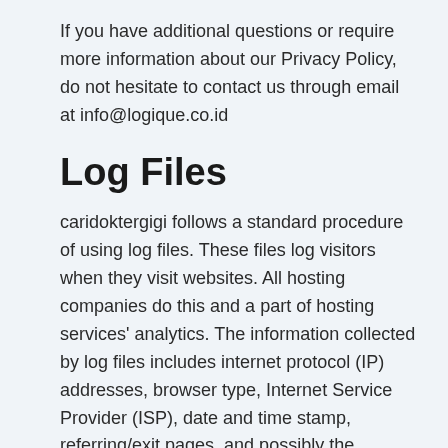If you have additional questions or require more information about our Privacy Policy, do not hesitate to contact us through email at info@logique.co.id
Log Files
caridoktergigi follows a standard procedure of using log files. These files log visitors when they visit websites. All hosting companies do this and a part of hosting services' analytics. The information collected by log files includes internet protocol (IP) addresses, browser type, Internet Service Provider (ISP), date and time stamp, referring/exit pages, and possibly the number of clicks. These are not linked to any information that is personally